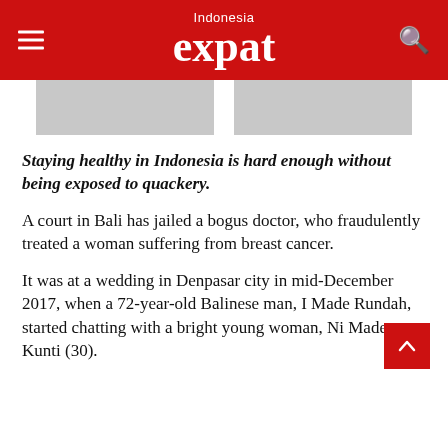Indonesia expat
[Figure (photo): Partial photo strip showing a person, split into two visible sections with a white gap in the middle]
Staying healthy in Indonesia is hard enough without being exposed to quackery.
A court in Bali has jailed a bogus doctor, who fraudulently treated a woman suffering from breast cancer.
It was at a wedding in Denpasar city in mid-December 2017, when a 72-year-old Balinese man, I Made Rundah, started chatting with a bright young woman, Ni Made Kunti (30).